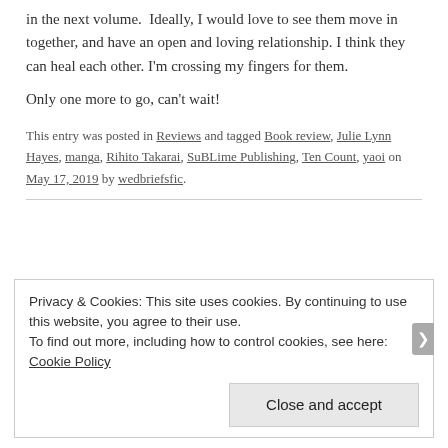in the next volume.  Ideally, I would love to see them move in together, and have an open and loving relationship. I think they can heal each other. I'm crossing my fingers for them.
Only one more to go, can't wait!
This entry was posted in Reviews and tagged Book review, Julie Lynn Hayes, manga, Rihito Takarai, SuBLime Publishing, Ten Count, yaoi on May 17, 2019 by wedbriefsfic.
Privacy & Cookies: This site uses cookies. By continuing to use this website, you agree to their use.
To find out more, including how to control cookies, see here: Cookie Policy